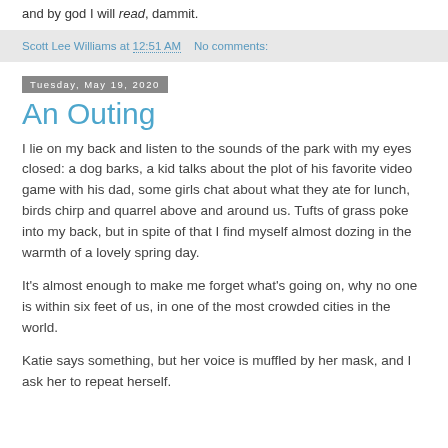and by god I will read, dammit.
Scott Lee Williams at 12:51 AM   No comments:
Tuesday, May 19, 2020
An Outing
I lie on my back and listen to the sounds of the park with my eyes closed: a dog barks, a kid talks about the plot of his favorite video game with his dad, some girls chat about what they ate for lunch, birds chirp and quarrel above and around us. Tufts of grass poke into my back, but in spite of that I find myself almost dozing in the warmth of a lovely spring day.
It's almost enough to make me forget what's going on, why no one is within six feet of us, in one of the most crowded cities in the world.
Katie says something, but her voice is muffled by her mask, and I ask her to repeat herself.